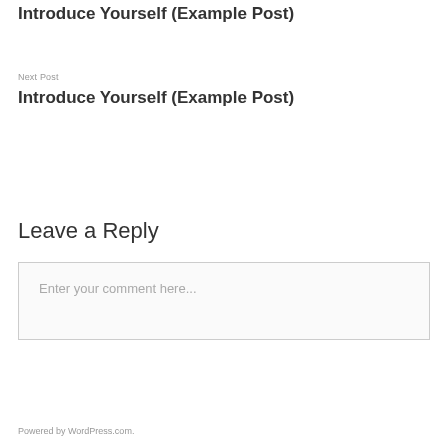Introduce Yourself (Example Post)
Next Post
Introduce Yourself (Example Post)
Leave a Reply
Enter your comment here...
Powered by WordPress.com.